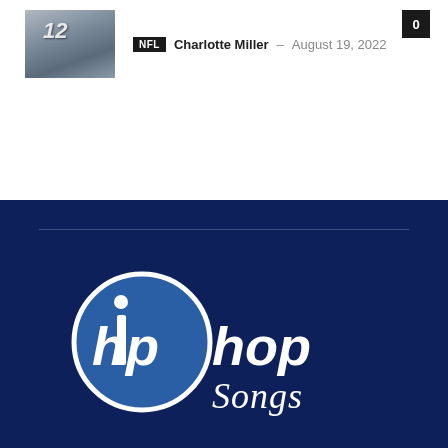[Figure (photo): Thumbnail photo of a football player wearing jersey number 12]
NFL  Charlotte Miller – August 19, 2022  0
[Figure (logo): Hip Hop Songs logo — circular blue emblem with 'hip' inside, followed by 'hop' in bold, and 'Songs' in cursive white script]